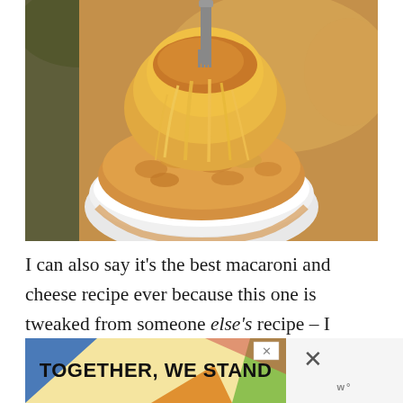[Figure (photo): Close-up food photo of baked macaroni and cheese in a white bowl, with melted cheese being pulled up by a fork, showing stretchy golden cheese strands]
I can also say it's the best macaroni and cheese recipe ever because this one is tweaked from someone else's recipe – I grabbed the recipe from someone named Bev, who shared her recipe on Food.com. Thank you eternally, Bev!
[Figure (other): Advertisement banner reading 'TOGETHER, WE STAND' with colorful background (blue, yellow, orange, green sections) and close buttons]